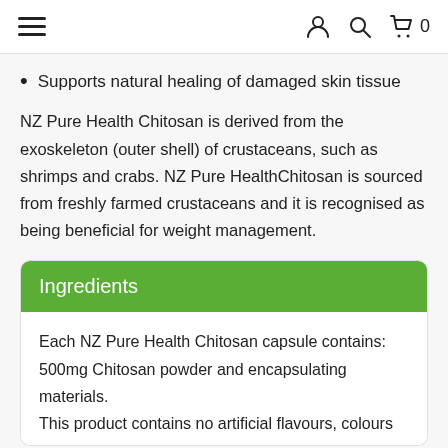≡  [user icon] [search icon] [cart icon] 0
Supports natural healing of damaged skin tissue
NZ Pure Health Chitosan is derived from the exoskeleton (outer shell) of crustaceans, such as shrimps and crabs. NZ Pure HealthChitosan is sourced from freshly farmed crustaceans and it is recognised as being beneficial for weight management.
Ingredients
Each NZ Pure Health Chitosan capsule contains: 500mg Chitosan powder and encapsulating materials.
This product contains no artificial flavours, colours